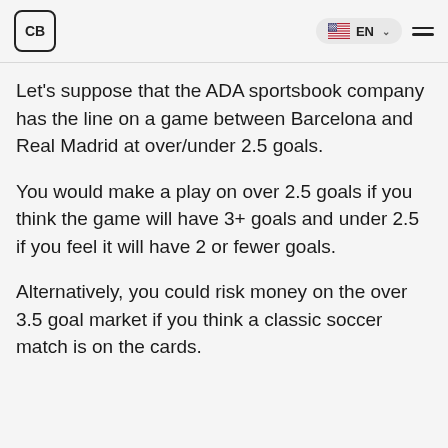CB | EN
Let’s suppose that the ADA sportsbook company has the line on a game between Barcelona and Real Madrid at over/under 2.5 goals.
You would make a play on over 2.5 goals if you think the game will have 3+ goals and under 2.5 if you feel it will have 2 or fewer goals.
Alternatively, you could risk money on the over 3.5 goal market if you think a classic soccer match is on the cards.